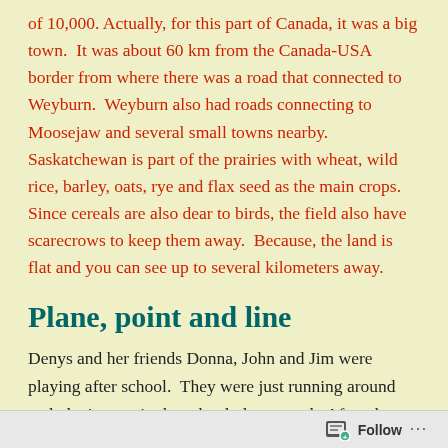of 10,000. Actually, for this part of Canada, it was a big town.  It was about 60 km from the Canada-USA border from where there was a road that connected to Weyburn.  Weyburn also had roads connecting to Moosejaw and several small towns nearby.  Saskatchewan is part of the prairies with wheat, wild rice, barley, oats, rye and flax seed as the main crops.  Since cereals are also dear to birds, the field also have scarecrows to keep them away.  Because, the land is flat and you can see up to several kilometers away.
Plane, point and line
Denys and her friends Donna, John and Jim were playing after school.  They were just running around and playing tag in the school playground.  After about half an hour, they got tired.  John and Jim started to argue whether
Follow ...